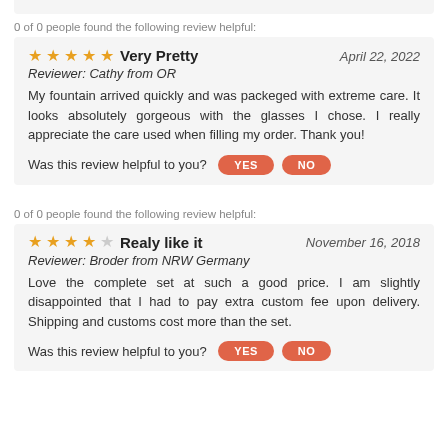0 of 0 people found the following review helpful:
★★★★★ Very Pretty — April 22, 2022
Reviewer: Cathy from OR
My fountain arrived quickly and was packeged with extreme care. It looks absolutely gorgeous with the glasses I chose. I really appreciate the care used when filling my order. Thank you!
Was this review helpful to you? YES NO
0 of 0 people found the following review helpful:
★★★★☆ Realy like it — November 16, 2018
Reviewer: Broder from NRW Germany
Love the complete set at such a good price. I am slightly disappointed that I had to pay extra custom fee upon delivery. Shipping and customs cost more than the set.
Was this review helpful to you? YES NO